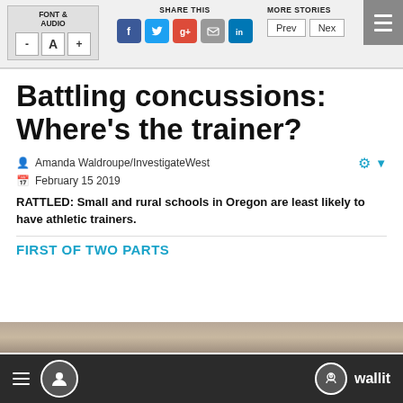FONT & AUDIO | SHARE THIS | MORE STORIES | Prev | Next
Battling concussions: Where's the trainer?
Amanda Waldroupe/InvestigateWest
February 15 2019
RATTLED: Small and rural schools in Oregon are least likely to have athletic trainers.
FIRST OF TWO PARTS
[Figure (photo): Partial view of a photo at the bottom of the page]
wallit